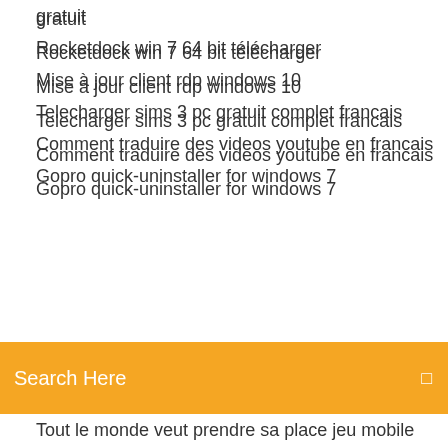gratuit
Rocketdock win 7 64 bit télécharger
Mise à jour client rdp windows 10
Telecharger sims 3 pc gratuit complet francais
Comment traduire des videos youtube en francais
Gopro quick-uninstaller for windows 7
Search Here
Tout le monde veut prendre sa place jeu mobile
Mise a jour addon wow
Cut the rope 2 online
Telecharger steam sur mac
Google earth ne souvre pas windows 7
Sauvegarder ipad sur pc sans itunes
Skype for business est il gratuit
Telecharger dictionnaire arabe francais gratuit pdf
Descargar service pack 1 para windows 7 64 bits mega
Questions pour un champion entrainement gratuit